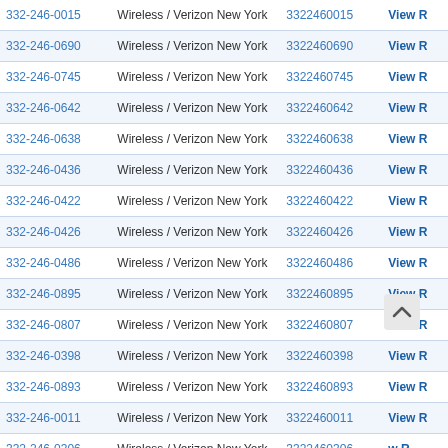| Phone Number | Type | Number | Action |
| --- | --- | --- | --- |
| 332-246-0015 | Wireless / Verizon New York | 3322460015 | View R |
| 332-246-0690 | Wireless / Verizon New York | 3322460690 | View R |
| 332-246-0745 | Wireless / Verizon New York | 3322460745 | View R |
| 332-246-0642 | Wireless / Verizon New York | 3322460642 | View R |
| 332-246-0638 | Wireless / Verizon New York | 3322460638 | View R |
| 332-246-0436 | Wireless / Verizon New York | 3322460436 | View R |
| 332-246-0422 | Wireless / Verizon New York | 3322460422 | View R |
| 332-246-0426 | Wireless / Verizon New York | 3322460426 | View R |
| 332-246-0486 | Wireless / Verizon New York | 3322460486 | View R |
| 332-246-0895 | Wireless / Verizon New York | 3322460895 | View R |
| 332-246-0807 | Wireless / Verizon New York | 3322460807 | View R |
| 332-246-0398 | Wireless / Verizon New York | 3322460398 | View R |
| 332-246-0893 | Wireless / Verizon New York | 3322460893 | View R |
| 332-246-0011 | Wireless / Verizon New York | 3322460011 | View R |
| 332-246-0306 | Wireless / Verizon New York | 3322460306 | w R |
| 332-246-0468 | Wireless / Verizon New York | 3322460468 | / R |
| 332-246-0898 | Wireless / Verizon New York | 3322460898 | View R |
| 332-246-0388 | Wireless / Verizon New York | 3322460388 | View R |
| 332-246-0858 | Wireless / Verizon New York | 3322460858 | View R |